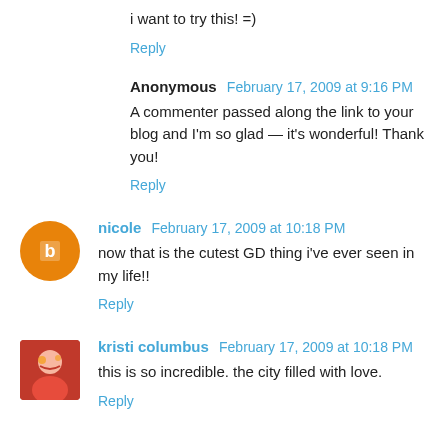i want to try this! =)
Reply
Anonymous   February 17, 2009 at 9:16 PM
A commenter passed along the link to your blog and I'm so glad — it's wonderful! Thank you!
Reply
nicole   February 17, 2009 at 10:18 PM
now that is the cutest GD thing i've ever seen in my life!!
Reply
kristi columbus   February 17, 2009 at 10:18 PM
this is so incredible. the city filled with love.
Reply